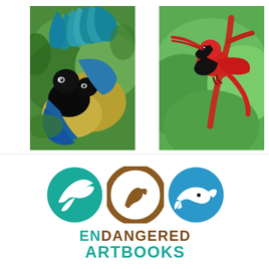[Figure (illustration): Painting of bird of paradise species with blue and black plumage and colorful green/teal feathers in a tropical setting]
[Figure (illustration): Painting of a bright red Hawaiian honeycreeper bird (I'iwi) perched on a red branch against a green background]
[Figure (logo): Endangered Artbooks logo consisting of three circles (teal with bird silhouette, brown ring with wildlife, blue with whale/orca) above the text ENDANGERED ARTBOOKS in brown and teal]